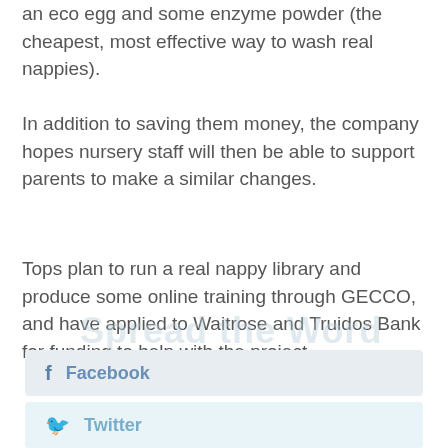an eco egg and some enzyme powder (the cheapest, most effective way to wash real nappies).
In addition to saving them money, the company hopes nursery staff will then be able to support parents to make a similar changes.
Tops plan to run a real nappy library and produce some online training through GECCO, and have applied to Waitrose and Truidos Bank for funding to help with the project.
[Figure (other): Facebook social share button with Facebook icon and text]
[Figure (other): Twitter social share button with Twitter icon and text]